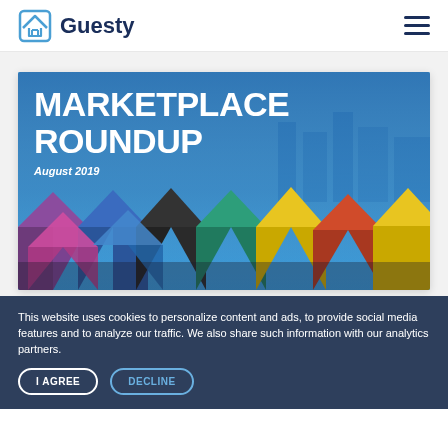Guesty
[Figure (illustration): Marketplace Roundup banner image: blue overlay with large white bold text 'MARKETPLACE ROUNDUP' and 'August 2019', lower half shows colorful market stall umbrellas aerial view]
This website uses cookies to personalize content and ads, to provide social media features and to analyze our traffic. We also share such information with our analytics partners.
Marketplace Roundup: An Accounting Solution, a Guest Experience App, a Work Order Tool &